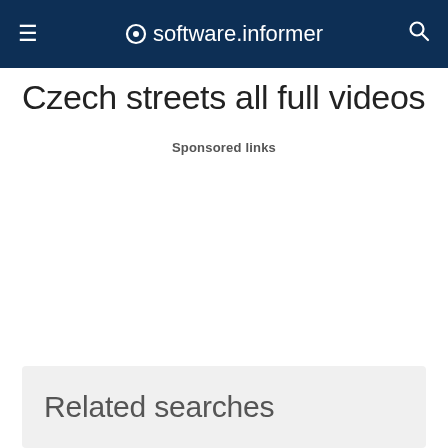≡ software.informer 🔍
Czech streets all full videos
Sponsored links
Related searches